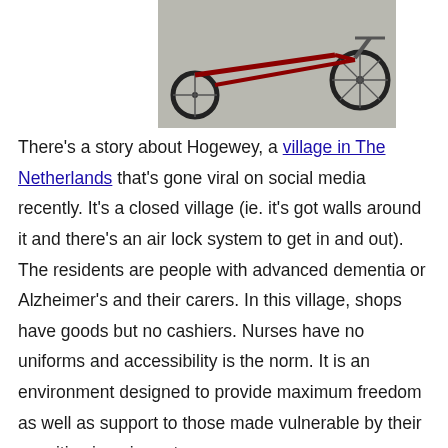[Figure (photo): Partial image of a recumbent tricycle or adaptive bicycle on a paved surface, cropped at top]
There's a story about Hogewey, a village in The Netherlands that's gone viral on social media recently.  It's a closed village (ie. it's got walls around it and there's an air lock system to get in and out).  The residents are people with advanced dementia or Alzheimer's and their carers.  In this village, shops have goods but no cashiers.  Nurses have no uniforms and accessibility is the norm.  It is an environment designed to provide maximum freedom as well as support to those made vulnerable by their cognitive impairments.